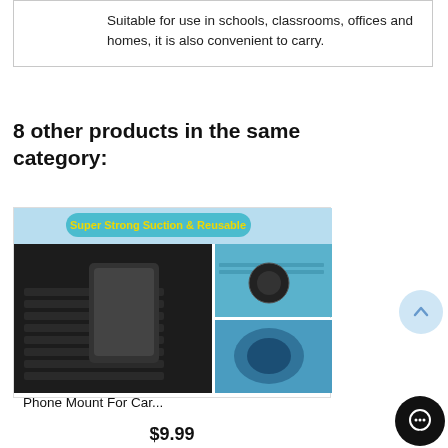Suitable for use in schools, classrooms, offices and homes, it is also convenient to carry.
8 other products in the same category:
[Figure (photo): Product photo of a Phone Mount For Car with suction cup. Shows the mount attached to a car dashboard/vent. Badge reads 'Super Strong Suction & Reusable' in yellow on teal background. Multiple angles shown.]
Phone Mount For Car...
$9.99